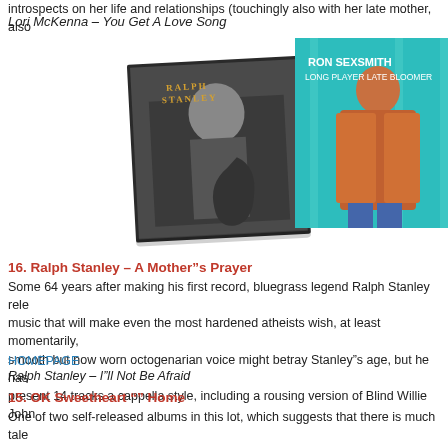introspects on her life and relationships (touchingly also with her late mother, also…
Lori McKenna – You Get A Love Song
[Figure (photo): Three overlapping album covers: Ralph Stanley – A Mother's Prayer (black and white photo of elderly man with guitar), Ron Sexsmith – Long Player Late Bloomer (young man in orange jacket on teal background), OK Sweetheart – Home (window with soft light, partially visible fourth album at right edge)]
16. Ralph Stanley – A Mother''s Prayer
Some 64 years after making his first record, bluegrass legend Ralph Stanley rele… music that will make even the most hardened atheists wish, at least momentarily,… smooth but now worn octogenarian voice might betray Stanley''s age, but he has… present 14 tracks a cappella style, including a rousing version of Blind Willie John…
HOMEPAGE
Ralph Stanley – I''ll Not Be Afraid
15. OK Sweetheart "" Home
One of two self-released albums in this lot, which suggests that there is much tale… Thank goodness for the Internet, through which fans can spread the word. So I g…